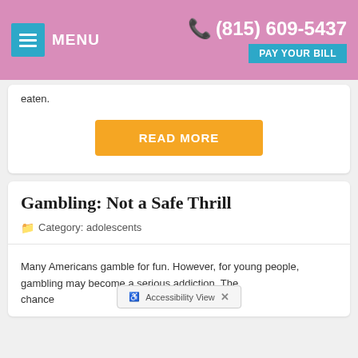MENU | (815) 609-5437 | PAY YOUR BILL
eaten.
READ MORE
Gambling: Not a Safe Thrill
Category: adolescents
Many Americans gamble for fun. However, for young people, gambling may become a serious addiction. The chance of everything gambling etting